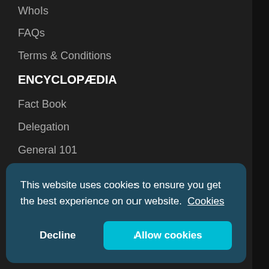WhoIs
FAQs
Terms & Conditions
ENCYCLOPÆDIA
Fact Book
Delegation
General 101
Registration 101
DNS Security Extensions
Resources
CONTACT US
This website uses cookies to ensure you get the best experience on our website. Cookies
Decline
Allow cookies